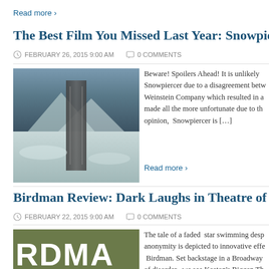Read more ›
The Best Film You Missed Last Year: Snowpiercer
FEBRUARY 26, 2015 9:00 AM   0 COMMENTS
[Figure (photo): Snowpiercer movie poster showing a train traversing a snowy mountain landscape, with text 'SNOWPIERCER LE TRANSPERCENEIGE']
Beware! Spoilers Ahead! It is unlikely Snowpiercer due to a disagreement between the Weinstein Company which resulted in a made all the more unfortunate due to th opinion, Snowpiercer is […]
Read more ›
Birdman Review: Dark Laughs in Theatre of Brok
FEBRUARY 22, 2015 9:00 AM   0 COMMENTS
[Figure (photo): Birdman movie poster showing large white letters RDMA on an olive green background]
The tale of a faded star swimming desp anonymity is depicted to innovative effe Birdman. Set backstage in a Broadway of disorder, we see Keaton's Riggan Th